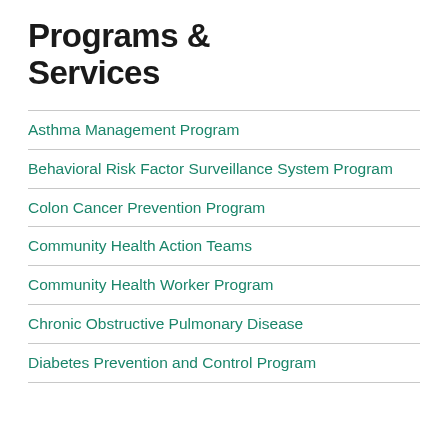Programs & Services
Asthma Management Program
Behavioral Risk Factor Surveillance System Program
Colon Cancer Prevention Program
Community Health Action Teams
Community Health Worker Program
Chronic Obstructive Pulmonary Disease
Diabetes Prevention and Control Program